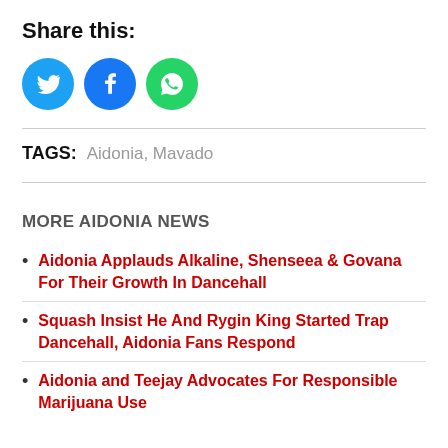Share this:
[Figure (illustration): Three social media share icons: Twitter (blue bird icon), Facebook (blue f icon), WhatsApp (green phone icon), all circular]
TAGS:  Aidonia, Mavado
MORE AIDONIA NEWS
Aidonia Applauds Alkaline, Shenseea & Govana For Their Growth In Dancehall
Squash Insist He And Rygin King Started Trap Dancehall, Aidonia Fans Respond
Aidonia and Teejay Advocates For Responsible Marijuana Use